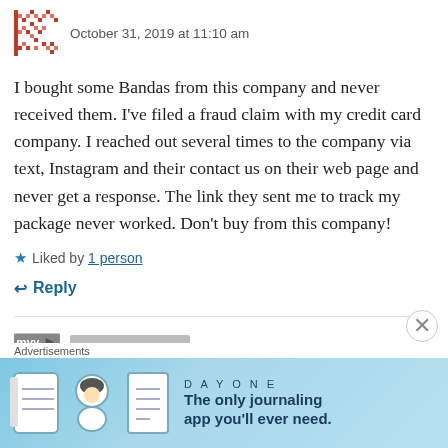October 31, 2019 at 11:10 am
I bought some Bandas from this company and never received them. I've filed a fraud claim with my credit card company. I reached out several times to the company via text, Instagram and their contact us on their web page and never get a response. The link they sent me to track my package never worked. Don't buy from this company!
Liked by 1 person
Reply
[Figure (screenshot): Advertisement banner for Day One journaling app with blue background, showing icons of a journal, person, and document along with text 'The only journaling app you'll ever need.']